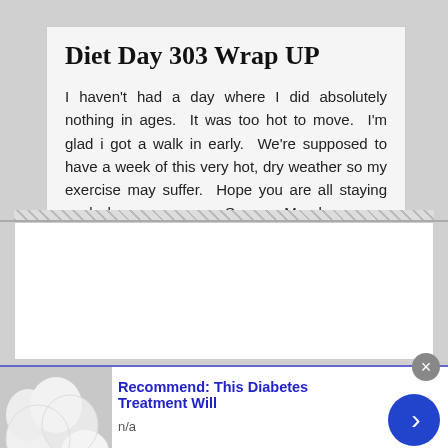Diet Day 303 Wrap UP
I haven't had a day where I did absolutely nothing in ages.  It was too hot to move.  I'm glad i got a walk in early.  We're supposed to have a week of this very hot, dry weather so my exercise may suffer.  Hope you are all staying cool wherever you are.  See you Monday.
[Figure (photo): Advertisement banner showing white round objects (possibly eggs or mozzarella balls) with text 'Recommend: This Diabetes Treatment Will' and 'n/a', with a blue arrow button on the right and a close button.]